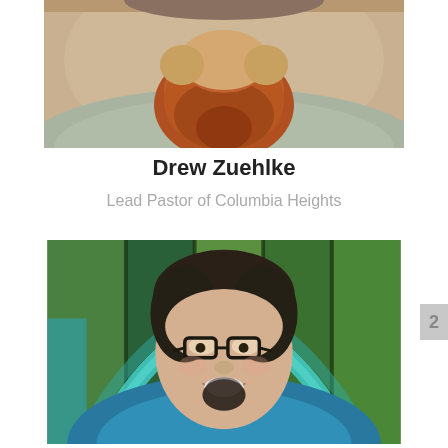[Figure (photo): Close-up portrait photo of Drew Zuehlke from shoulders up, with a large red beard and wearing a grey t-shirt, cropped so only the lower face and beard/chest are visible]
Drew Zuehlke
Lead Pastor of Columbia Heights
[Figure (photo): Portrait photo of a smiling man with dark hair, glasses, a goatee, wearing a teal shirt, in front of a colorful stained glass background with green and teal tones]
2